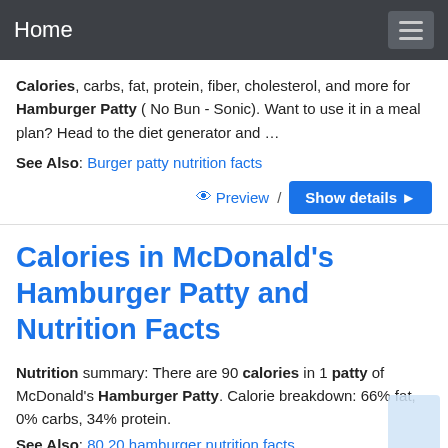Home
Calories, carbs, fat, protein, fiber, cholesterol, and more for Hamburger Patty ( No Bun - Sonic). Want to use it in a meal plan? Head to the diet generator and …
See Also: Burger patty nutrition facts
Preview / Show details
Calories in McDonald's Hamburger Patty and Nutrition Facts
Nutrition summary: There are 90 calories in 1 patty of McDonald's Hamburger Patty. Calorie breakdown: 66% fat, 0% carbs, 34% protein.
See Also: 80 20 hamburger nutrition facts